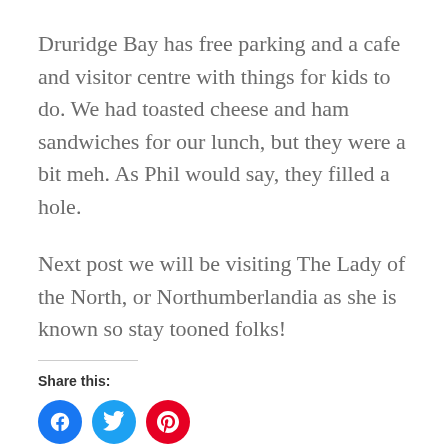Druridge Bay has free parking and a cafe and visitor centre with things for kids to do. We had toasted cheese and ham sandwiches for our lunch, but they were a bit meh. As Phil would say, they filled a hole.
Next post we will be visiting The Lady of the North, or Northumberlandia as she is known so stay tooned folks!
Share this:
[Figure (other): Social sharing icons: Facebook (blue circle with f), Twitter (light blue circle with bird), Pinterest (red circle with P)]